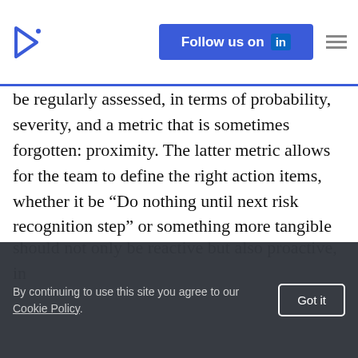Follow us on LinkedIn
be regularly assessed, in terms of probability, severity, and a metric that is sometimes forgotten: proximity. The latter metric allows for the team to define the right action items, whether it be “Do nothing until next risk recognition step” or something more tangible should the risk be more proximate. What is important to recognize here is that top PMs understand how to make risks actionable, as any risk is unhelpful if they are unmanaged. Additionally, the list of action items
should not only be reactive but also proactive, in identifying how to mitigate risk. As part of the next task...
By continuing to use this site you agree to our Cookie Policy.